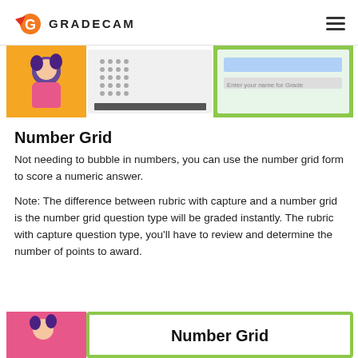GRADECAM
[Figure (screenshot): Screenshot of GradeCam interface showing a student character, bubble sheet, and a form with number grid fields, on an orange and green background.]
Number Grid
Not needing to bubble in numbers, you can use the number grid form to score a numeric answer.
Note: The difference between rubric with capture and a number grid is the number grid question type will be graded instantly. The rubric with capture question type, you'll have to review and determine the number of points to award.
[Figure (screenshot): Bottom screenshot showing a pink background with a student character and a green-bordered box with bold text 'Number Grid'.]